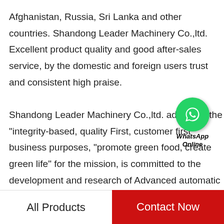Afghanistan, Russia, Sri Lanka and other countries. Shandong Leader Machinery Co.,ltd. Excellent product quality and good after-sales service, by the domestic and foreign users trust and consistent high praise.
Shandong Leader Machinery Co.,ltd. adhere to the "integrity-based, quality First, customer first" business purposes, "promote green food, create green life" for the mission, is committed to the development and research of Advanced automatic mocha coffee pouch packing machinery machinery, through the production of Advanced automatic mocha coffee pouch packing machinery products, advocating people take the road of green life.
[Figure (other): WhatsApp Online badge with green phone icon circle]
All Products   Contact Now